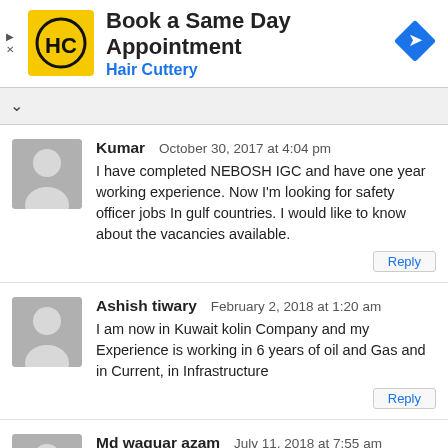[Figure (screenshot): Advertisement banner for Hair Cuttery showing logo, 'Book a Same Day Appointment' text, and navigation arrow icon]
Kumar
October 30, 2017 at 4:04 pm
I have completed NEBOSH IGC and have one year working experience. Now I'm looking for safety officer jobs In gulf countries. I would like to know about the vacancies available.
Ashish tiwary
February 2, 2018 at 1:20 am
I am now in Kuwait kolin Company and my Experience is working in 6 years of oil and Gas and in Current, in Infrastructure
Md waquar azam
July 11, 2018 at 7:55 am
Dear Sir,
I m safety officer i m working now oil and gas.